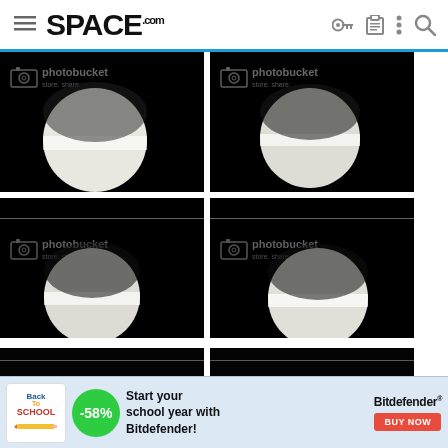[Figure (screenshot): Space.com website header with logo, hamburger menu, and navigation icons on a white background with blue underline.]
[Figure (photo): Four black astronomical images arranged in a 2x2 grid, each showing a bright white spherical planet (Venus or similar) against a black background, with Photobucket watermarks. Thin horizontal artifact lines visible in lower two images.]
[Figure (photo): Two partial black astronomical images at bottom of page showing top portions of similar planet photos with horizontal artifact lines, partially obscured by advertisement banner.]
[Figure (screenshot): Advertisement banner: Back to School promotion for Bitdefender showing -58% discount with green circular badge, school logo, and red BUY NOW button.]